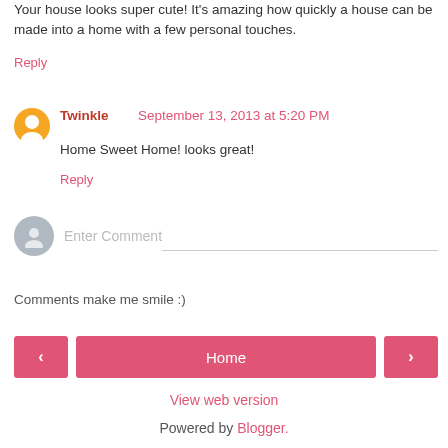Your house looks super cute! It's amazing how quickly a house can be made into a home with a few personal touches.
Reply
Twinkle September 13, 2013 at 5:20 PM
Home Sweet Home! looks great!
Reply
Enter Comment
Comments make me smile :)
Home
View web version
Powered by Blogger.